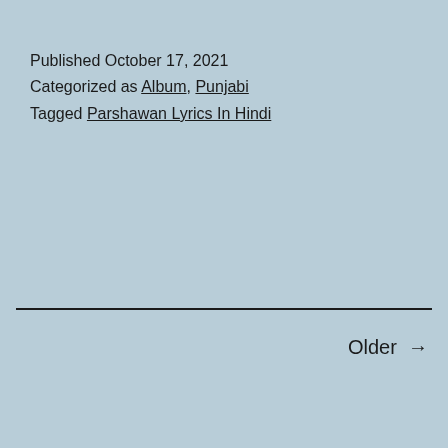Published October 17, 2021
Categorized as Album, Punjabi
Tagged Parshawan Lyrics In Hindi
Older →